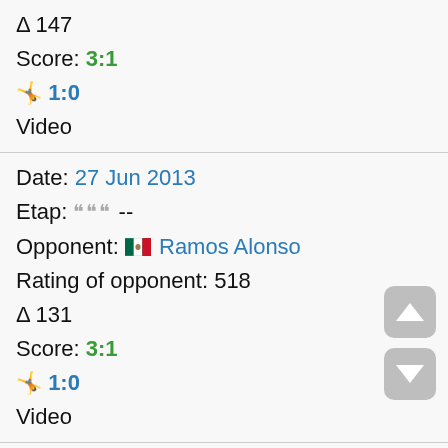Δ 147
Score: 3:1
🤸 1:0
Video
Date: 27 Jun 2013
Etap: 💬💬💬 --
Opponent: 🇲🇽 Ramos Alonso
Rating of opponent: 518
Δ 131
Score: 3:1
🤸 1:0
Video
Date: 22 Apr 2012
Etap: 💬💬💬 --
Opponent: 🇪🇨 Riofrio Emiliano
Rating of opponent: 485
Δ 101
Score: 3:0